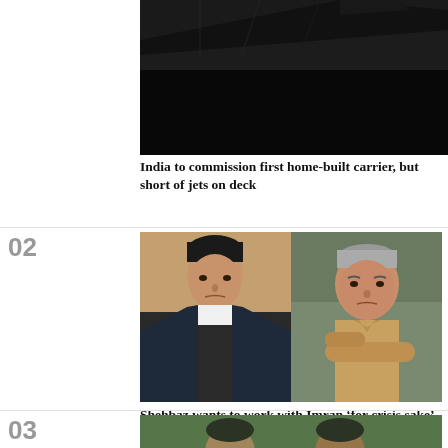[Figure (photo): Dark hull of an aircraft carrier ship against sky]
India to commission first home-built carrier, but short of jets on deck
[Figure (photo): Split image: Imran Khan on left in dark suit, Shehbaz Sharif on right in tan shirt with arms crossed]
Shehbaz wants to work with Imran ‘for crisis sake’
[Figure (photo): Partial view of people at bottom of page, article 03]